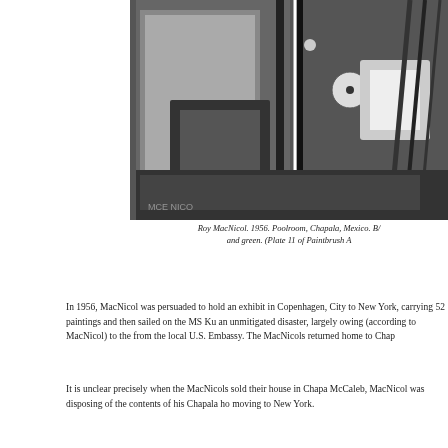[Figure (photo): Black and white photograph of a poolroom scene in Chapala, Mexico, 1956, painted by Roy MacNicol. Shows billiard balls and pool table elements in a monochromatic style.]
Roy MacNicol. 1956. Poolroom, Chapala, Mexico. B/ and green. (Plate 11 of Paintbrush A
In 1956, MacNicol was persuaded to hold an exhibit in Copenhagen, City to New York, carrying 52 paintings and then sailed on the MS Ku an unmitigated disaster, largely owing (according to MacNicol) to the from the local U.S. Embassy. The MacNicols returned home to Chap
It is unclear precisely when the MacNicols sold their house in Chapa McCaleb, MacNicol was disposing of the contents of his Chapala ho moving to New York.